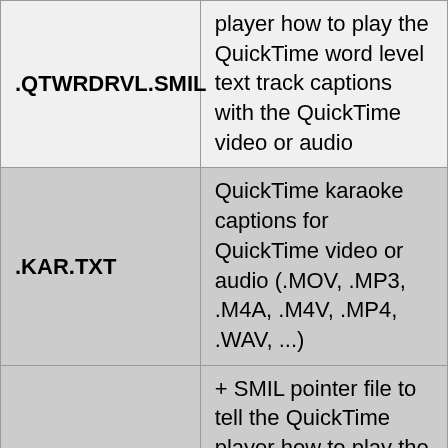| Extension | Description |
| --- | --- |
| .QTWRDRVL.SMIL | player how to play the QuickTime word level text track captions with the QuickTime video or audio |
| .KAR.TXT | QuickTime karaoke captions for QuickTime video or audio (.MOV, .MP3, .M4A, .M4V, .MP4, .WAV, ...) |
| .KAR.SMIL | + SMIL pointer file to tell the QuickTime player how to play the QuickTime karaoke |